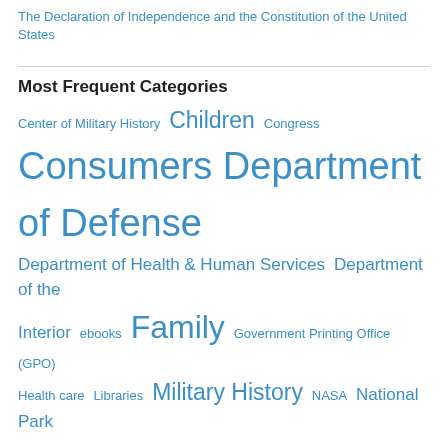The Declaration of Independence and the Constitution of the United States
Most Frequent Categories
Center of Military History  Children  Congress  Consumers  Department of Defense  Department of Health & Human Services  Department of the Interior  ebooks  Family  Government Printing Office (GPO)  Health care  Libraries  Military History  NASA  National Park Service  Travel and Tourism  U.S. Army  U.S. History  U.S. Navy
Most Frequent Tags